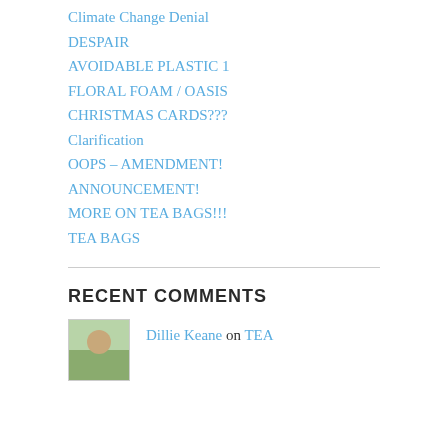Climate Change Denial
DESPAIR
AVOIDABLE PLASTIC 1
FLORAL FOAM / OASIS
CHRISTMAS CARDS???
Clarification
OOPS – AMENDMENT!
ANNOUNCEMENT!
MORE ON TEA BAGS!!!
TEA BAGS
RECENT COMMENTS
Dillie Keane on TEA